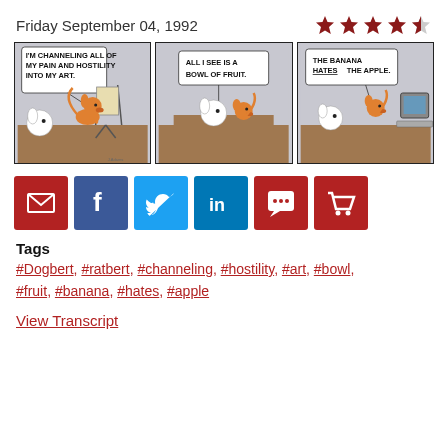Friday September 04, 1992
[Figure (illustration): Three-panel Dilbert comic strip. Panel 1: Ratbert stands at an easel painting, saying 'I'M CHANNELING ALL OF MY PAIN AND HOSTILITY INTO MY ART.' Dogbert watches. Panel 2: Dogbert says 'ALL I SEE IS A BOWL OF FRUIT.' Panel 3: Ratbert, now at a computer, says 'THE BANANA HATES THE APPLE.' Dogbert is nearby.]
[Figure (infographic): Row of six social sharing buttons: email (red), Facebook (dark blue), Twitter (light blue), LinkedIn (teal blue), comment (red), shopping cart (red).]
Tags
#Dogbert, #ratbert, #channeling, #hostility, #art, #bowl, #fruit, #banana, #hates, #apple
View Transcript